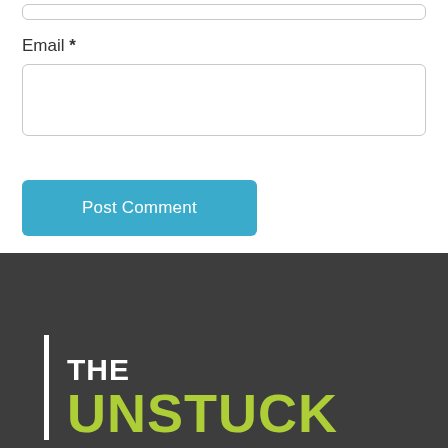Email *
This site uses Akismet to reduce spam. Learn how your comment data is processed.
[Figure (logo): THE UNSTUCK logo — white vertical bar on left, 'THE' in white bold text, 'UNSTUCK' in large yellow-green bold text, on dark gray background]